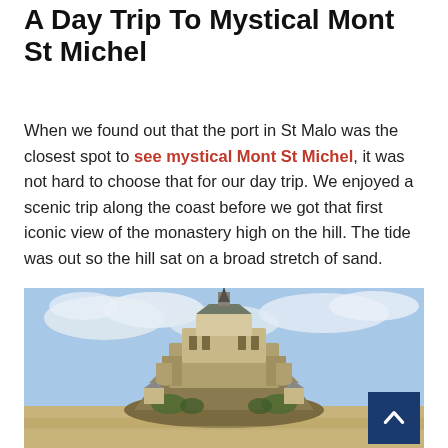A Day Trip To Mystical Mont St Michel
When we found out that the port in St Malo was the closest spot to see mystical Mont St Michel, it was not hard to choose that for our day trip. We enjoyed a scenic trip along the coast before we got that first iconic view of the monastery high on the hill. The tide was out so the hill sat on a broad stretch of sand.
[Figure (photo): Photograph of Mont Saint-Michel, a medieval monastery and island commune rising on a rocky hill above tidal sands, under a partly cloudy sky.]